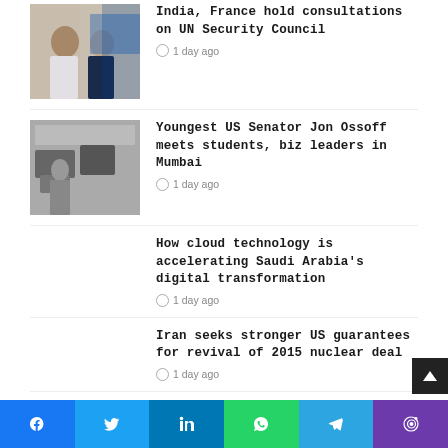[Figure (photo): Two political leaders shaking hands, Indian PM and French President, with blue EU-like flag in background]
India, France hold consultations on UN Security Council
1 day ago
[Figure (photo): Office/conference room with computers and a person sitting]
Youngest US Senator Jon Ossoff meets students, biz leaders in Mumbai
1 day ago
How cloud technology is accelerating Saudi Arabia's digital transformation
1 day ago
Iran seeks stronger US guarantees for revival of 2015 nuclear deal
1 day ago
KCR on Bihar visit today to meet CM Nitish Kumar
1 day ago